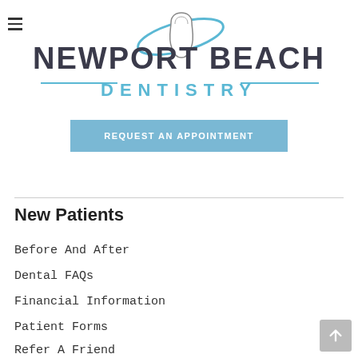[Figure (logo): Newport Beach Dentistry logo with tooth graphic and blue swoosh accent lines, dark gray bold text reading NEWPORT BEACH and blue text reading DENTISTRY with decorative horizontal lines]
REQUEST AN APPOINTMENT
New Patients
Before And After
Dental FAQs
Financial Information
Patient Forms
Refer A Friend